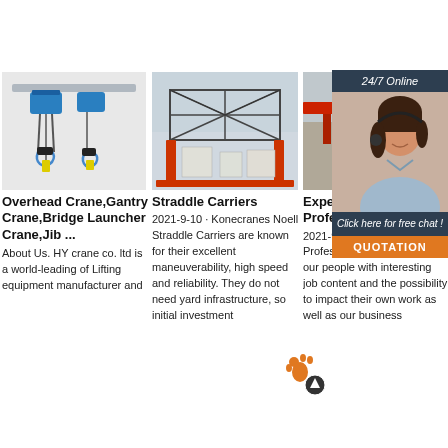[Figure (screenshot): Orange Get Price button (center-top area)]
[Figure (screenshot): Orange Get Price button (right-top area)]
[Figure (photo): Blue electric chain hoist / overhead crane equipment on rail]
Overhead Crane,Gantry Crane,Bridge Launcher Crane,Jib ...
About Us. HY crane co. ltd is a world-leading of Lifting equipment manufacturer and
[Figure (photo): Large straddle carrier / gantry crane structure under construction]
Straddle Carriers
2021-9-10  ·  Konecranes Noell Straddle Carriers are known for their excellent maneuverability, high speed and reliability. They do not need yard infrastructure, so initial investment
[Figure (photo): Industrial crane/building interior (partial, behind chat panel)]
Experienced Professionals
2021-9-9  ·  Experienced Professionals. We provide our people with interesting job content and the possibility to impact their own work as well as our business
[Figure (screenshot): 24/7 Online chat panel with customer service agent photo, Click here for free chat!, QUOTATION button]